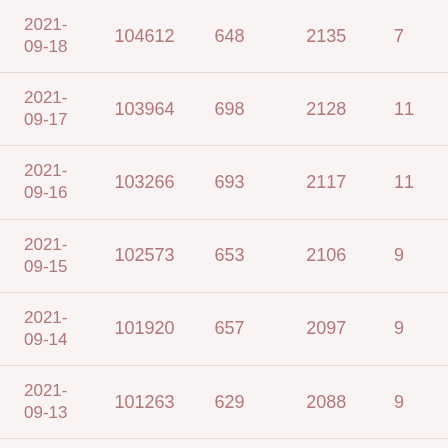| 2021-09-18 | 104612 | 648 | 2135 | 7 |
| 2021-09-17 | 103964 | 698 | 2128 | 11 |
| 2021-09-16 | 103266 | 693 | 2117 | 11 |
| 2021-09-15 | 102573 | 653 | 2106 | 9 |
| 2021-09-14 | 101920 | 657 | 2097 | 9 |
| 2021-09-13 | 101263 | 629 | 2088 | 9 |
| 2021-09-12 | 100634 | 662 | 2079 | 12 |